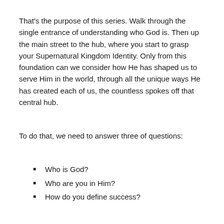That's the purpose of this series. Walk through the single entrance of understanding who God is. Then up the main street to the hub, where you start to grasp your Supernatural Kingdom Identity. Only from this foundation can we consider how He has shaped us to serve Him in the world, through all the unique ways He has created each of us, the countless spokes off that central hub.
To do that, we need to answer three of questions:
Who is God?
Who are you in Him?
How do you define success?